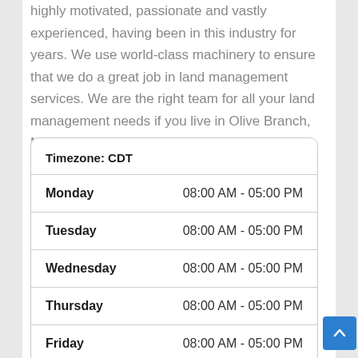highly motivated, passionate and vastly experienced, having been in this industry for years. We use world-class machinery to ensure that we do a great job in land management services. We are the right team for all your land management needs if you live in Olive Branch, MS.
| Day | Hours |
| --- | --- |
| Monday | 08:00 AM - 05:00 PM |
| Tuesday | 08:00 AM - 05:00 PM |
| Wednesday | 08:00 AM - 05:00 PM |
| Thursday | 08:00 AM - 05:00 PM |
| Friday | 08:00 AM - 05:00 PM |